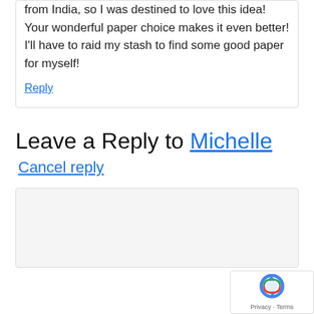from India, so I was destined to love this idea! Your wonderful paper choice makes it even better! I'll have to raid my stash to find some good paper for myself!
Reply
Leave a Reply to Michelle
Cancel reply
[Figure (other): reCAPTCHA badge with Privacy and Terms text]